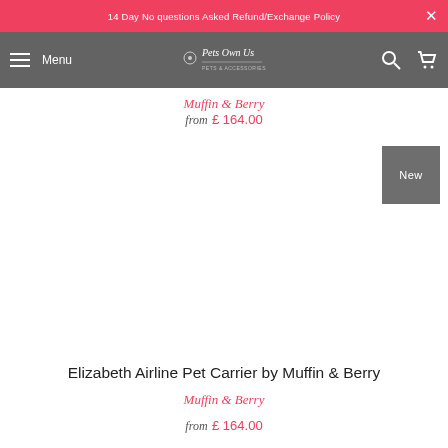14 Day No questions Asked Refund/Exchange Policy
Menu — Pets Own Us — [search] [cart]
Muffin & Berry
from £ 164.00
New
Elizabeth Airline Pet Carrier by Muffin & Berry
Muffin & Berry
from £ 164.00